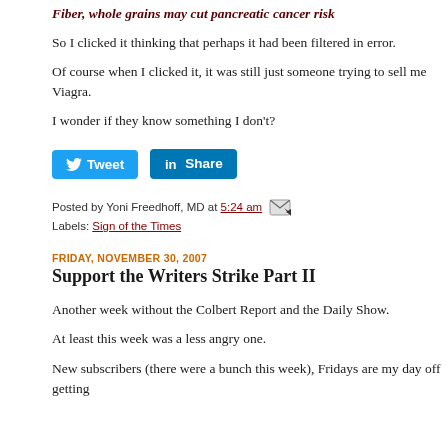Fiber, whole grains may cut pancreatic cancer risk
So I clicked it thinking that perhaps it had been filtered in error.
Of course when I clicked it, it was still just someone trying to sell me Viagra.
I wonder if they know something I don't?
[Figure (other): Tweet and Share social media buttons]
Posted by Yoni Freedhoff, MD at 5:24 am
Labels: Sign of the Times
FRIDAY, NOVEMBER 30, 2007
Support the Writers Strike Part II
Another week without the Colbert Report and the Daily Show.
At least this week was a less angry one.
New subscribers (there were a bunch this week), Fridays are my day off getting Fridays... "Funny Fridays"